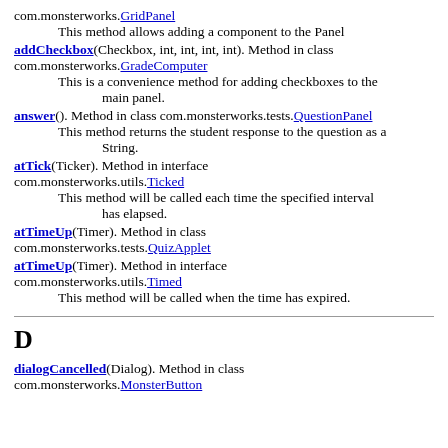com.monsterworks.GridPanel
    This method allows adding a component to the Panel
addCheckbox(Checkbox, int, int, int, int). Method in class com.monsterworks.GradeComputer
    This is a convenience method for adding checkboxes to the main panel.
answer(). Method in class com.monsterworks.tests.QuestionPanel
    This method returns the student response to the question as a String.
atTick(Ticker). Method in interface com.monsterworks.utils.Ticked
    This method will be called each time the specified interval has elapsed.
atTimeUp(Timer). Method in class com.monsterworks.tests.QuizApplet
atTimeUp(Timer). Method in interface com.monsterworks.utils.Timed
    This method will be called when the time has expired.
D
dialogCancelled(Dialog). Method in class com.monsterworks.MonsterButton